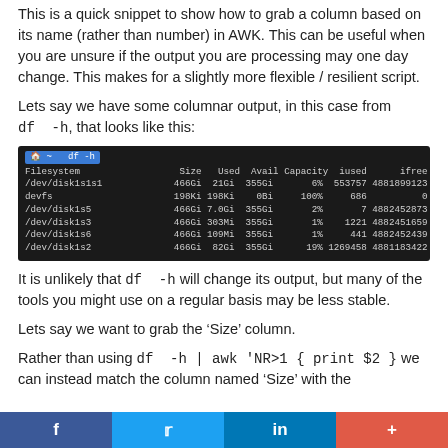This is a quick snippet to show how to grab a column based on its name (rather than number) in AWK. This can be useful when you are unsure if the output you are processing may one day change. This makes for a slightly more flexible / resilient script.
Lets say we have some columnar output, in this case from df -h, that looks like this:
[Figure (screenshot): Terminal screenshot showing output of 'df -h' command with columns: Filesystem, Size, Used, Avail, Capacity, iused, ifree. Rows include /dev/disk1s1s1, devfs, /dev/disk1s5, /dev/disk1s3, /dev/disk1s6, /dev/disk1s2.]
It is unlikely that df -h will change its output, but many of the tools you might use on a regular basis may be less stable.
Lets say we want to grab the ‘Size’ column.
Rather than using df -h | awk 'NR>1 { print $2 } we can instead match the column named ‘Size’ with the
f  [twitter bird]  in  +